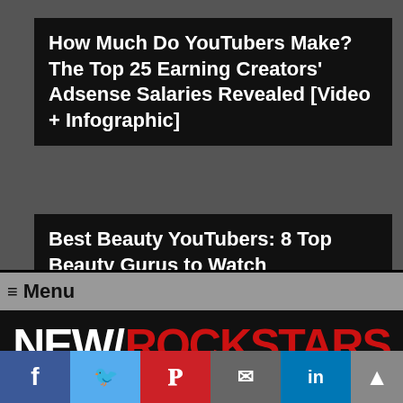How Much Do YouTubers Make? The Top 25 Earning Creators' Adsense Salaries Revealed [Video + Infographic]
Best Beauty YouTubers: 8 Top Beauty Gurus to Watch
≡ Menu
[Figure (logo): NEW/ROCKSTARS logo — 'NEW/' in white bold text and 'ROCKSTARS' in red bold text on black background]
What the Internet Cares About (Marvel, DC, Game of Thrones, Walking Dead and more)
[Figure (infographic): Social share buttons: Facebook (blue), Twitter (light blue), Pinterest (red), Email (gray), LinkedIn (blue). Back to top arrow button on the right.]